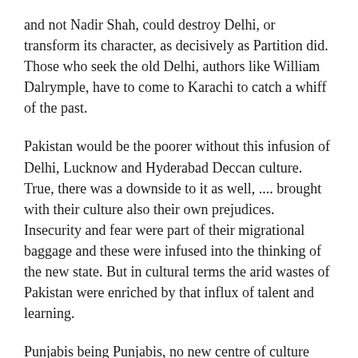and not Nadir Shah, could destroy Delhi, or transform its character, as decisively as Partition did. Those who seek the old Delhi, authors like William Dalrymple, have to come to Karachi to catch a whiff of the past.
Pakistan would be the poorer without this infusion of Delhi, Lucknow and Hyderabad Deccan culture. True, there was a downside to it as well, .... brought with their culture also their own prejudices. Insecurity and fear were part of their migrational baggage and these were infused into the thinking of the new state. But in cultural terms the arid wastes of Pakistan were enriched by that influx of talent and learning.
Punjabis being Punjabis, no new centre of culture arose in Punjab. But in Karachi we saw the birth of a transplanted culture, its soul carrying the imprint of loss and nostalgia, the usual hallmarks of any migration.
The downside comes from this very circumstance. Sixty four